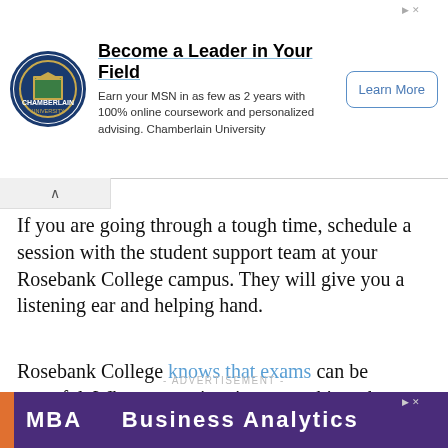[Figure (screenshot): Top advertisement banner for Chamberlain University featuring logo, headline 'Become a Leader in Your Field', body text about MSN program, and 'Learn More' button]
If you are going through a tough time, schedule a session with the student support team at your Rosebank College campus. They will give you a listening ear and helping hand.
Rosebank College knows that exams can be stressful. When exam time is approaching, they offer workshops centering on time management skills.
- ADVERTISEMENT -
[Figure (screenshot): Bottom advertisement banner for MBA Business Analytics with purple background and orange accent bar]